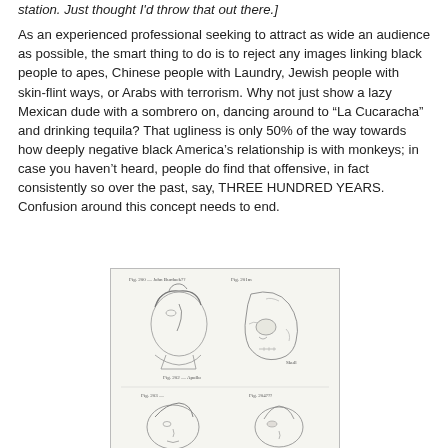station. Just thought I'd throw that out there.]
As an experienced professional seeking to attract as wide an audience as possible, the smart thing to do is to reject any images linking black people to apes, Chinese people with Laundry, Jewish people with skin-flint ways, or Arabs with terrorism. Why not just show a lazy Mexican dude with a sombrero on, dancing around to “La Cucaracha” and drinking tequila? That ugliness is only 50% of the way towards how deeply negative black America’s relationship is with monkeys; in case you haven’t heard, people do find that offensive, in fact consistently so over the past, say, THREE HUNDRED YEARS. Confusion around this concept needs to end.
[Figure (illustration): Black and white anatomical illustration showing two human heads in profile view on the top row and two more figures partially visible at the bottom, with figure labels such as Fig. numbers. Appears to be from a scientific or anthropological text.]